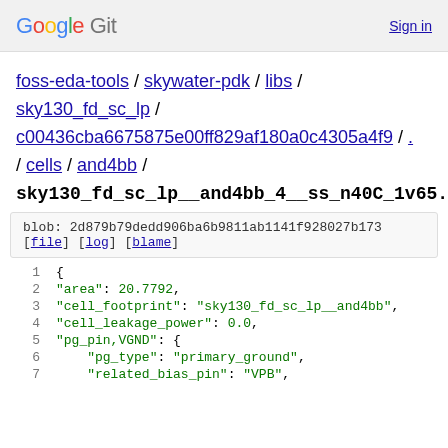Google Git  Sign in
foss-eda-tools / skywater-pdk / libs / sky130_fd_sc_lp / c00436cba6675875e00ff829af180a0c4305a4f9 / . / cells / and4bb /
sky130_fd_sc_lp__and4bb_4__ss_n40C_1v65.lib.json
blob: 2d879b79dedd906ba6b9811ab1141f928027b173
[file] [log] [blame]
1  {
2      "area": 20.7792,
3      "cell_footprint": "sky130_fd_sc_lp__and4bb",
4      "cell_leakage_power": 0.0,
5      "pg_pin,VGND": {
6          "pg_type": "primary_ground",
7          "related_bias_pin": "VPB",